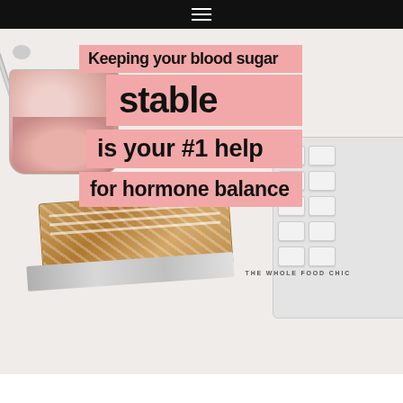[Figure (photo): Flatlay photo on white surface featuring a pink yogurt cup with spoon, granola bars in metallic wrapper, and partial white keyboard. Text overlays on pink/salmon rectangular backgrounds read: 'Keeping your blood sugar stable is your #1 help for hormone balance' with brand 'THE WHOLE FOOD CHIC' in small caps.]
Keeping your blood sugar stable is your #1 help for hormone balance
THE WHOLE FOOD CHIC